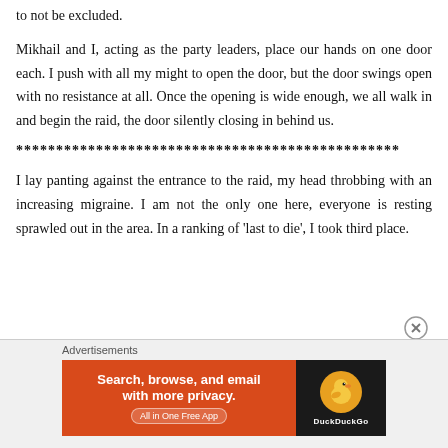to not be excluded.
Mikhail and I, acting as the party leaders, place our hands on one door each. I push with all my might to open the door, but the door swings open with no resistance at all. Once the opening is wide enough, we all walk in and begin the raid, the door silently closing in behind us.
************************************************
I lay panting against the entrance to the raid, my head throbbing with an increasing migraine. I am not the only one here, everyone is resting sprawled out in the area. In a ranking of ‘last to die’, I took third place.
[Figure (infographic): DuckDuckGo advertisement banner: orange left panel with text 'Search, browse, and email with more privacy. All in One Free App' and dark right panel with DuckDuckGo duck logo.]